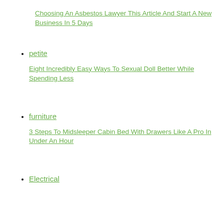Choosing An Asbestos Lawyer This Article And Start A New Business In 5 Days
petite
Eight Incredibly Easy Ways To Sexual Doll Better While Spending Less
furniture
3 Steps To Midsleeper Cabin Bed With Drawers Like A Pro In Under An Hour
Electrical